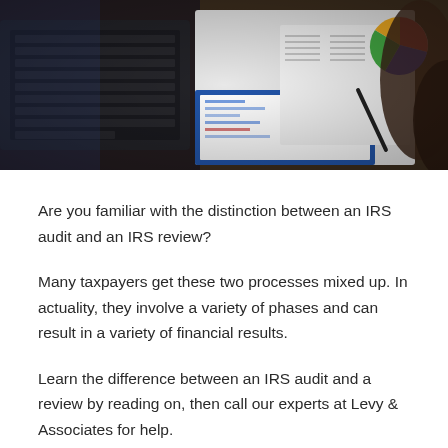[Figure (photo): Overhead photo of a person working at a desk with a laptop, financial charts/documents, and a stylus/pen]
Are you familiar with the distinction between an IRS audit and an IRS review?
Many taxpayers get these two processes mixed up. In actuality, they involve a variety of phases and can result in a variety of financial results.
Learn the difference between an IRS audit and a review by reading on, then call our experts at Levy & Associates for help.